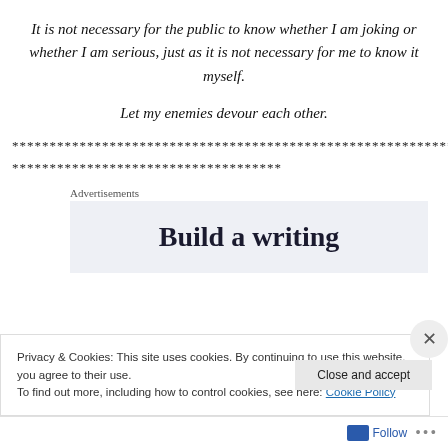It is not necessary for the public to know whether I am joking or whether I am serious, just as it is not necessary for me to know it myself.
Let my enemies devour each other.
**************************************************************************
************************************
Advertisements
[Figure (screenshot): Advertisement box with text 'Build a writing' on light blue-grey background]
Privacy & Cookies: This site uses cookies. By continuing to use this website, you agree to their use.
To find out more, including how to control cookies, see here: Cookie Policy
Close and accept
Follow